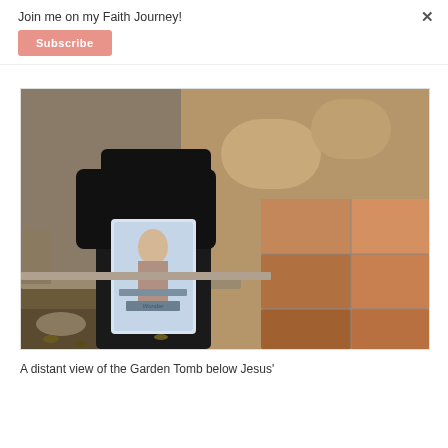Join me on my Faith Journey!
Subscribe
[Figure (photo): A woman dressed in black sitting on stone steps or a stone bench outdoors, holding a book titled 'Whispers of Wonder'. Stone walls and rock surfaces are visible in the background.]
A distant view of the Garden Tomb below Jesus'